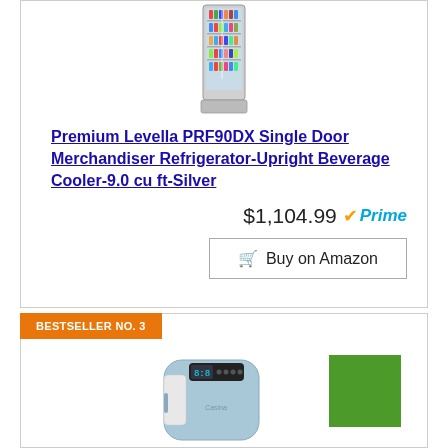[Figure (photo): Commercial merchandiser refrigerator/beverage cooler, upright silver unit with glass door showing beverages inside]
Premium Levella PRF90DX Single Door Merchandiser Refrigerator-Upright Beverage Cooler-9.0 cu ft-Silver
$1,104.99 Prime
Buy on Amazon
BESTSELLER NO. 3
[Figure (photo): Light blue portable cooler/beverage cooler with digital display, with a green square on the right side]